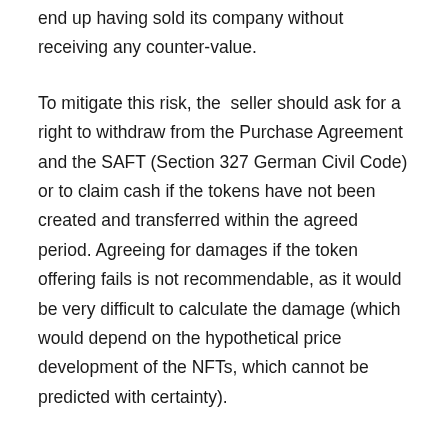end up having sold its company without receiving any counter-value.
To mitigate this risk, the seller should ask for a right to withdraw from the Purchase Agreement and the SAFT (Section 327 German Civil Code) or to claim cash if the tokens have not been created and transferred within the agreed period. Agreeing for damages if the token offering fails is not recommendable, as it would be very difficult to calculate the damage (which would depend on the hypothetical price development of the NFTs, which cannot be predicted with certainty).
(b) Representations and Warranties in case of Target Company owning NFTs